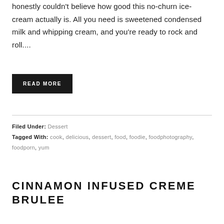honestly couldn't believe how good this no-churn ice-cream actually is. All you need is sweetened condensed milk and whipping cream, and you're ready to rock and roll....
READ MORE
Filed Under: Dessert
Tagged With: cook, delicious, dessert, food, foodie, foodphotography, foodporn, yum
CINNAMON INFUSED CREME BRULEE